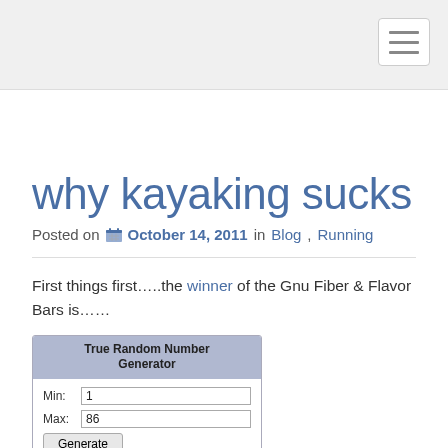why kayaking sucks
Posted on October 14, 2011 in Blog, Running
First things first…..the winner of the Gnu Fiber & Flavor Bars is……
[Figure (screenshot): True Random Number Generator widget showing Min: 1, Max: 86, Result: 62]
brooke says: